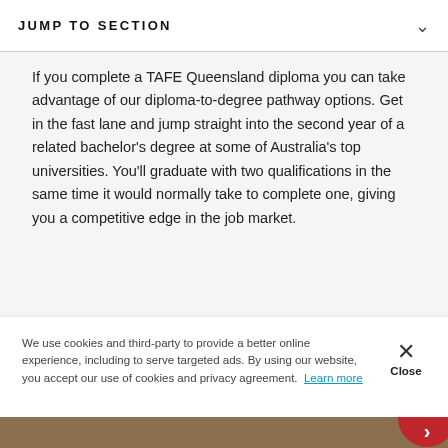JUMP TO SECTION
If you complete a TAFE Queensland diploma you can take advantage of our diploma-to-degree pathway options. Get in the fast lane and jump straight into the second year of a related bachelor's degree at some of Australia's top universities. You'll graduate with two qualifications in the same time it would normally take to complete one, giving you a competitive edge in the job market.
We use cookies and third-party to provide a better online experience, including to serve targeted ads. By using our website, you accept our use of cookies and privacy agreement. Learn more
[Figure (photo): Bottom strip showing a person at what appears to be a formal or graduation-related event, with a red circular button partially visible at the right edge.]